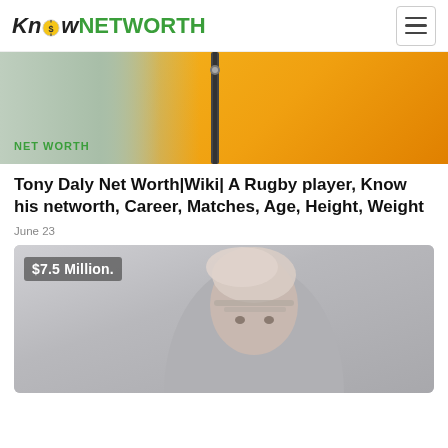Know NETWORTH
[Figure (photo): Partial photo of person wearing yellow jacket with zipper, cropped at torso level. Green 'NET WORTH' text badge at bottom left.]
Tony Daly Net Worth|Wiki| A Rugby player, Know his networth, Career, Matches, Age, Height, Weight
June 23
[Figure (photo): Photo of Tony Daly, a man with silver/white hair against a light grey background. Overlay text reads '$7.5 Million.']